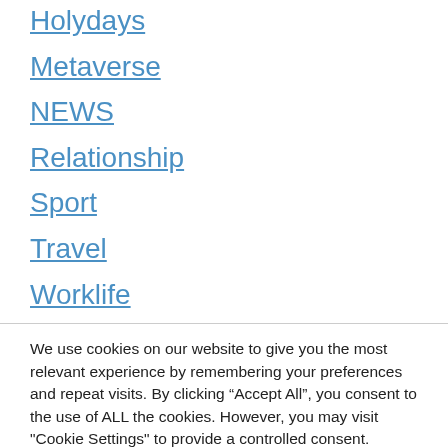Holydays
Metaverse
NEWS
Relationship
Sport
Travel
Worklife
We use cookies on our website to give you the most relevant experience by remembering your preferences and repeat visits. By clicking “Accept All”, you consent to the use of ALL the cookies. However, you may visit "Cookie Settings" to provide a controlled consent.
Cookie Settings | Accept All